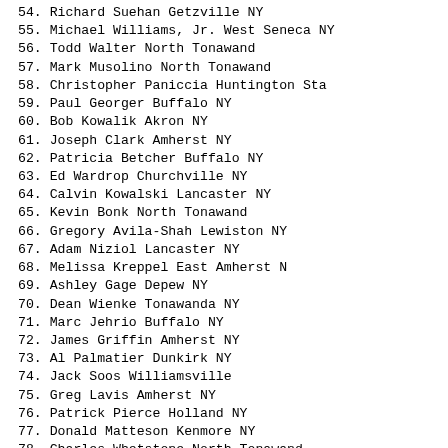54. Richard Suehan              Getzville NY
55. Michael Williams, Jr.       West Seneca NY
56. Todd Walter                 North Tonawanda
57. Mark Musolino               North Tonawanda
58. Christopher Paniccia        Huntington Sta
59. Paul Georger                Buffalo NY
60. Bob Kowalik                 Akron NY
61. Joseph Clark                Amherst NY
62. Patricia Betcher            Buffalo NY
63. Ed Wardrop                  Churchville NY
64. Calvin Kowalski             Lancaster NY
65. Kevin Bonk                  North Tonawanda
66. Gregory Avila-Shah          Lewiston NY
67. Adam Niziol                 Lancaster NY
68. Melissa Kreppel             East Amherst N
69. Ashley Gage                 Depew NY
70. Dean Wienke                 Tonawanda NY
71. Marc Jehrio                 Buffalo NY
72. James Griffin               Amherst NY
73. Al Palmatier                Dunkirk NY
74. Jack Soos                   Williamsville
75. Greg Lavis                  Amherst NY
76. Patrick Pierce              Holland NY
77. Donald Matteson             Kenmore NY
78. Charles Whetstone           North Tonawanda
79. Mark Michaels               Buffalo NY